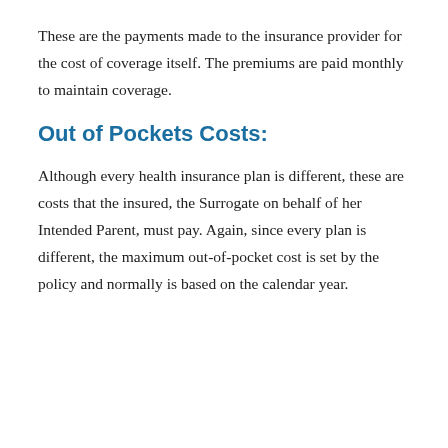These are the payments made to the insurance provider for the cost of coverage itself. The premiums are paid monthly to maintain coverage.
Out of Pockets Costs:
Although every health insurance plan is different, these are costs that the insured, the Surrogate on behalf of her Intended Parent, must pay. Again, since every plan is different, the maximum out-of-pocket cost is set by the policy and normally is based on the calendar year.